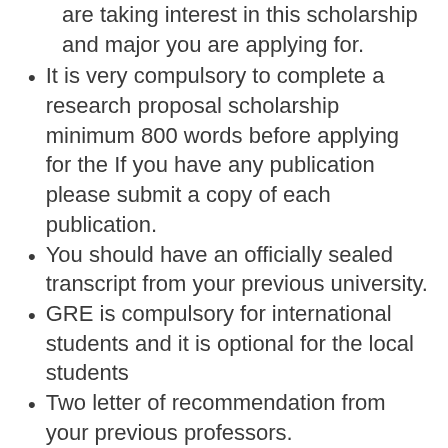are taking interest in this scholarship and major you are applying for.
It is very compulsory to complete a research proposal scholarship minimum 800 words before applying for the If you have any publication please submit a copy of each publication.
You should have an officially sealed transcript from your previous university.
GRE is compulsory for international students and it is optional for the local students
Two letter of recommendation from your previous professors.
Step By step procedure